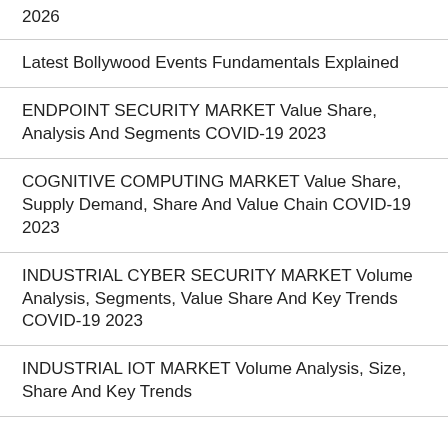2026
Latest Bollywood Events Fundamentals Explained
ENDPOINT SECURITY MARKET Value Share, Analysis And Segments COVID-19 2023
COGNITIVE COMPUTING MARKET Value Share, Supply Demand, Share And Value Chain COVID-19 2023
INDUSTRIAL CYBER SECURITY MARKET Volume Analysis, Segments, Value Share And Key Trends COVID-19 2023
INDUSTRIAL IOT MARKET Volume Analysis, Size, Share And Key Trends